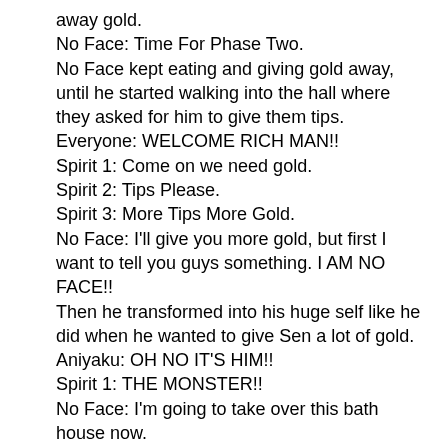away gold.
No Face: Time For Phase Two.
No Face kept eating and giving gold away, until he started walking into the hall where they asked for him to give them tips.
Everyone: WELCOME RICH MAN!!
Spirit 1: Come on we need gold.
Spirit 2: Tips Please.
Spirit 3: More Tips More Gold.
No Face: I'll give you more gold, but first I want to tell you guys something. I AM NO FACE!!
Then he transformed into his huge self like he did when he wanted to give Sen a lot of gold.
Aniyaku: OH NO IT'S HIM!!
Spirit 1: THE MONSTER!!
No Face: I'm going to take over this bath house now.
Chichiyaku: Yeah!! I'll like to see you try.
No Face: Fine!
He grabbed him with his hands and swallowed him